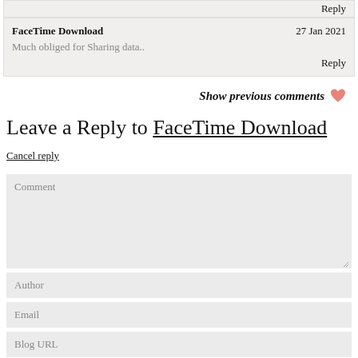Reply
FaceTime Download   27 Jan 2021
Much obliged for Sharing data..
Reply
Show previous comments
Leave a Reply to FaceTime Download Cancel reply
Comment
Author
Email
Blog URL
Save my name, email, and website in this browser for the next time